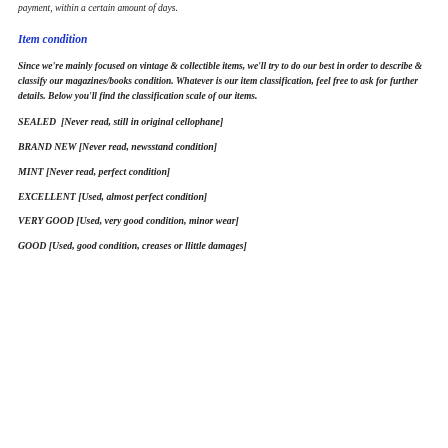payment, within a certain amount of days.
Item condition
Since we're mainly focused on vintage & collectible items, we'll try to do our best in order to describe & classify our magazines/books condition. Whatever is our item classification, feel free to ask for further details. Below you'll find the classification scale of our items.
SEALED  [Never read, still in original cellophane]
BRAND NEW [Never read, newsstand condition]
MINT [Never read, perfect condition]
EXCELLENT [Used, almost perfect condition]
VERY GOOD [Used, very good condition, minor wear]
GOOD [Used, good condition, creases or llittle damages]